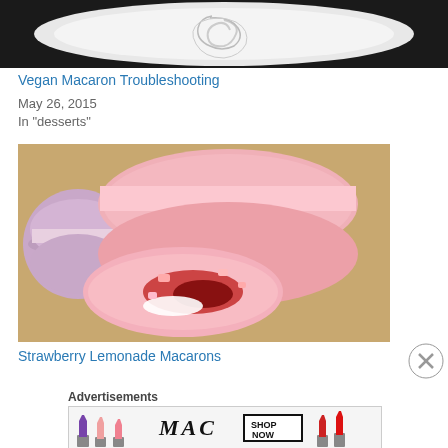[Figure (photo): Top portion of a food blog page showing a white bowl with cream/meringue on a dark background, partially visible]
Vegan Macaron Troubleshooting
May 26, 2015
In "desserts"
[Figure (photo): Close-up photo of pink strawberry lemonade macarons, one broken open showing jam and white cream filling, on a yellow surface]
Strawberry Lemonade Macarons
Advertisements
[Figure (photo): MAC cosmetics advertisement showing purple, pink, and red lipsticks with MAC logo and SHOP NOW button]